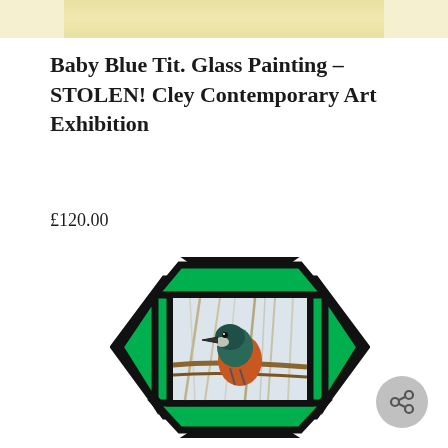[Figure (photo): Partial top edge of another image or painting visible at top of page, showing a yellow/cream toned artwork strip.]
Baby Blue Tit. Glass Painting – STOLEN! Cley Contemporary Art Exhibition
£120.00
[Figure (photo): A stained glass panel in a geometric hexagonal/diamond frame with bold black leading and bright green glass panels surrounding a central rectangular painted glass panel depicting a kingfisher bird perched on a branch among reeds, with orange-brown breast and teal-blue head.]